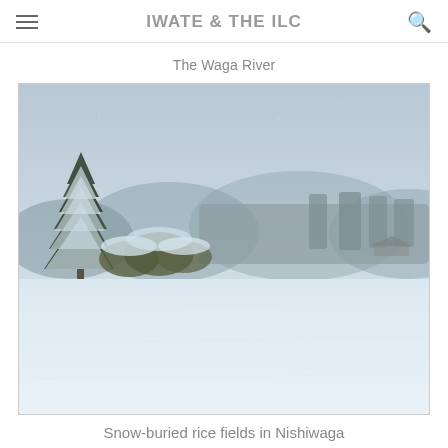IWATE & THE ILC
The Waga River
[Figure (photo): A winter landscape showing snow-buried rice fields in Nishiwaga with snow-covered evergreen trees on the left, forested mountains in the background, and a large expanse of white snow-covered flat fields in the foreground under a grey overcast sky.]
Snow-buried rice fields in Nishiwaga